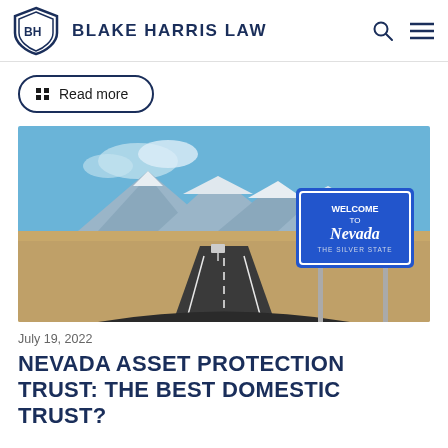BLAKE HARRIS LAW
Read more
[Figure (photo): A desert highway leading toward snow-capped mountains, with a 'Welcome to Nevada – The Silver State' blue road sign on the right side of the road.]
July 19, 2022
NEVADA ASSET PROTECTION TRUST: THE BEST DOMESTIC TRUST?